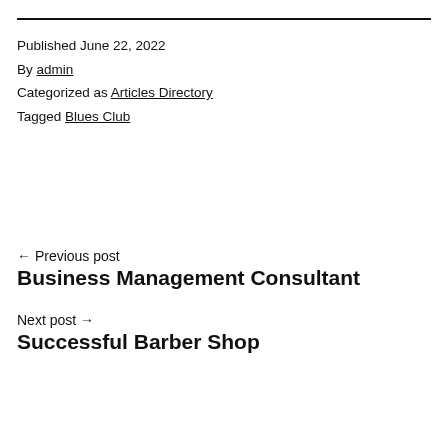Published June 22, 2022
By admin
Categorized as Articles Directory
Tagged Blues Club
← Previous post
Business Management Consultant
Next post →
Successful Barber Shop